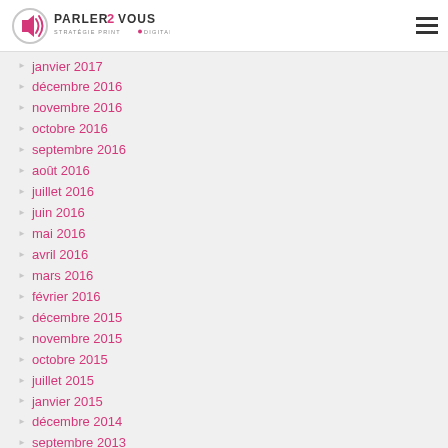PARLER2VOUS STRATÉGIE PRINT & DIGITALE
janvier 2017
décembre 2016
novembre 2016
octobre 2016
septembre 2016
août 2016
juillet 2016
juin 2016
mai 2016
avril 2016
mars 2016
février 2016
décembre 2015
novembre 2015
octobre 2015
juillet 2015
janvier 2015
décembre 2014
septembre 2013
juin 2013